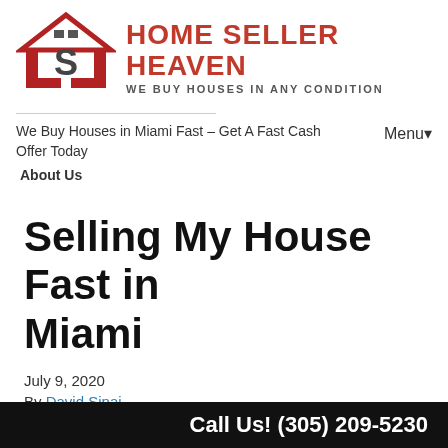[Figure (logo): Home Seller Heaven logo with house icon and red/gray S letter mark, with tagline WE BUY HOUSES IN ANY CONDITION]
We Buy Houses in Miami Fast – Get A Fast Cash Offer Today
Menu▾
About Us
Selling My House Fast in Miami
July 9, 2020
By David Sinai
You need to sell your Miami house fast right? If you're
Call Us! (305) 209-5230